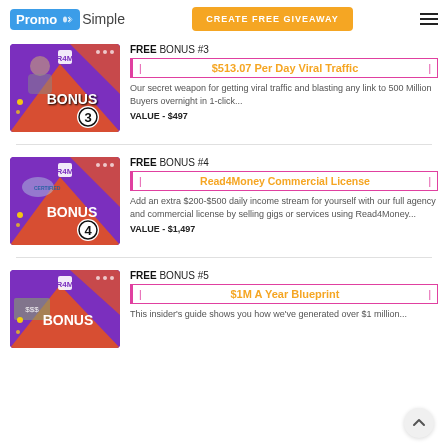PromoSimple | CREATE FREE GIVEAWAY
[Figure (illustration): Bonus #3 promotional image with purple and orange design, man shaking hands, BONUS 3 badge]
FREE BONUS #3
$513.07 Per Day Viral Traffic
Our secret weapon for getting viral traffic and blasting any link to 500 Million Buyers overnight in 1-click...
VALUE - $497
[Figure (illustration): Bonus #4 promotional image with purple and orange design, certified stamp hands, BONUS 4 badge]
FREE BONUS #4
Read4Money Commercial License
Add an extra $200-$500 daily income stream for yourself with our full agency and commercial license by selling gigs or services using Read4Money...
VALUE - $1,497
[Figure (illustration): Bonus #5 promotional image with purple design, money/cash background, BONUS badge]
FREE BONUS #5
$1M A Year Blueprint
This insider's guide shows you how we've generated over $1 million...